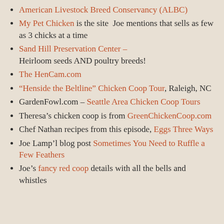American Livestock Breed Conservancy (ALBC)
My Pet Chicken is the site Joe mentions that sells as few as 3 chicks at a time
Sand Hill Preservation Center – Heirloom seeds AND poultry breeds!
The HenCam.com
“Henside the Beltline” Chicken Coop Tour, Raleigh, NC
GardenFowl.com – Seattle Area Chicken Coop Tours
Theresa’s chicken coop is from GreenChickenCoop.com
Chef Nathan recipes from this episode, Eggs Three Ways
Joe Lamp’l blog post Sometimes You Need to Ruffle a Few Feathers
Joe’s fancy red coop details with all the bells and whistles